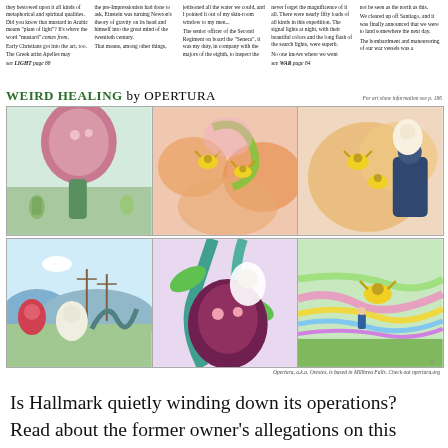Top multi-column newspaper text snippets about light, art, and war topics. References to LIGHT page 88 and WAR page 84.
[Figure (illustration): WEIRD HEALING by OPERTURA comic strip. Two rows of three panels each showing fantastical illustrations with bee-like creatures, flower beings, and abstract organic shapes in pink, green, orange and blue hues.]
Opertura, a.k.a. Orestes, is based in Millbrea Falls. Check out opertura.org
Is Hallmark quietly winding down its operations? Read about the former owner's allegations on this week's Page A1. A familiar face prepares for her first year as Sheffield's principal, while her middle/high school counterpart reflects back on her first year. Projected revenues are down but local aid is up in the budget sent to the governor this week. Wendell